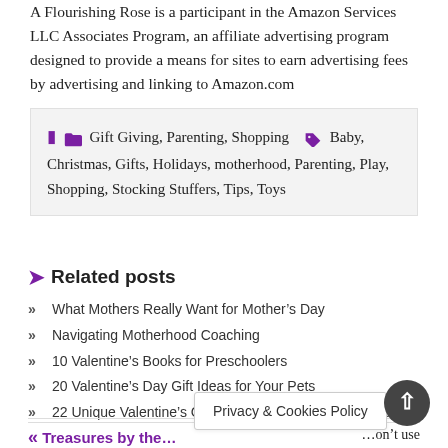A Flourishing Rose is a participant in the Amazon Services LLC Associates Program, an affiliate advertising program designed to provide a means for sites to earn advertising fees by advertising and linking to Amazon.com
Categories: Gift Giving, Parenting, Shopping   Tags: Baby, Christmas, Gifts, Holidays, motherhood, Parenting, Play, Shopping, Stocking Stuffers, Tips, Toys
Related posts
What Mothers Really Want for Mother's Day
Navigating Motherhood Coaching
10 Valentine's Books for Preschoolers
20 Valentine's Day Gift Ideas for Your Pets
22 Unique Valentine's Cards and Party Favors for Kids
Privacy & Cookies Policy
« Treasures by the … don't use